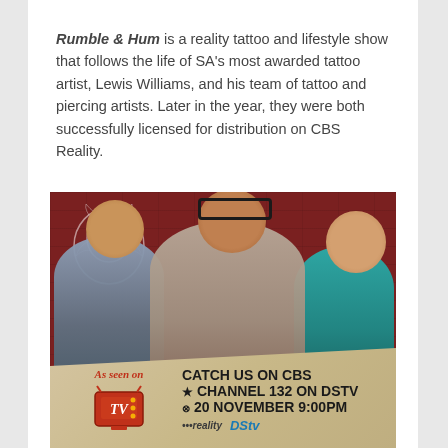Rumble & Hum is a reality tattoo and lifestyle show that follows the life of SA's most awarded tattoo artist, Lewis Williams, and his team of tattoo and piercing artists. Later in the year, they were both successfully licensed for distribution on CBS Reality.
[Figure (photo): Three people posing for a promotional photo against a red brick wall with a gorilla mural in the background. A banner at the bottom reads 'As seen on TV — Catch us on CBS Channel 132 on DSTV 20 November 9:00PM' with CBS Reality and DStv logos.]